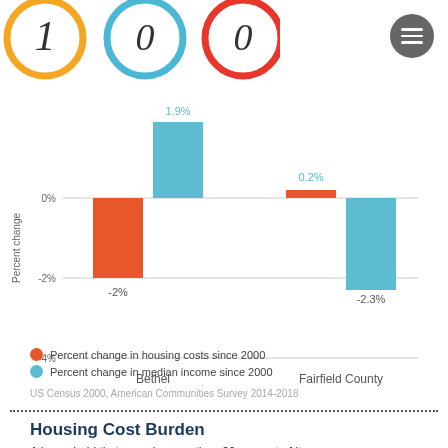[Figure (grouped-bar-chart): Percent change in housing costs and median income since 2000]
Percent change in housing costs since 2000
Percent change in median income since 2000
US Census 2000, American Communities Survey 2014-2018
Housing Cost Burden
A household that spends more than 30 percent of its gross...